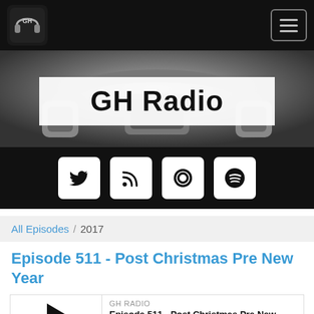GH Radio - navigation bar with logo and menu button
[Figure (photo): Hero banner image showing headphones in dark gray tones with 'GH Radio' title overlaid in a white box]
[Figure (infographic): Black social media bar with four icon buttons: Twitter bird, RSS feed, Castbox/podcast, Spotify]
All Episodes / 2017
Episode 511 - Post Christmas Pre New Year
GH RADIO
Episode 511 - Post Christmas Pre New Year